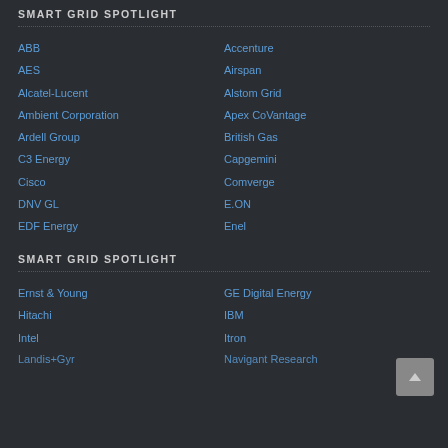SMART GRID SPOTLIGHT
ABB
Accenture
AES
Airspan
Alcatel-Lucent
Alstom Grid
Ambient Corporation
Apex CoVantage
Ardell Group
British Gas
C3 Energy
Capgemini
Cisco
Comverge
DNV GL
E.ON
EDF Energy
Enel
SMART GRID SPOTLIGHT
Ernst & Young
GE Digital Energy
Hitachi
IBM
Intel
Itron
Landis+Gyr
Navigant Research